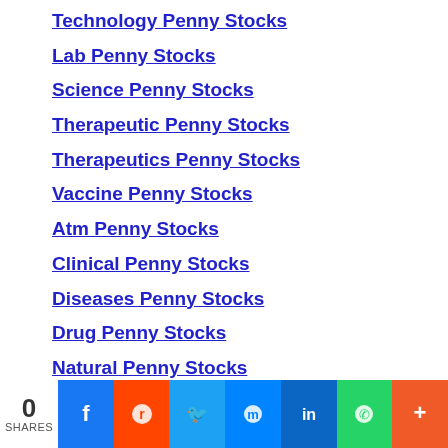Technology Penny Stocks
Lab Penny Stocks
Science Penny Stocks
Therapeutic Penny Stocks
Therapeutics Penny Stocks
Vaccine Penny Stocks
Atm Penny Stocks
Clinical Penny Stocks
Diseases Penny Stocks
Drug Penny Stocks
Natural Penny Stocks
Protein Penny Stocks
Resources Penny Stocks
0 SHARES | Facebook | Reddit | Twitter | Messenger | LinkedIn | WhatsApp | More